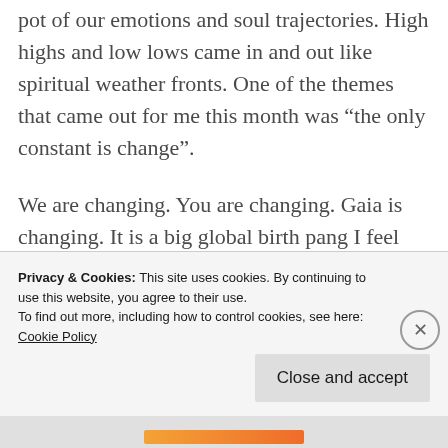pot of our emotions and soul trajectories. High highs and low lows came in and out like spiritual weather fronts. One of the themes that came out for me this month was “the only constant is change”.
We are changing. You are changing. Gaia is changing. It is a big global birth pang I feel we are going through. As sensitives to this growing shift in
Privacy & Cookies: This site uses cookies. By continuing to use this website, you agree to their use.
To find out more, including how to control cookies, see here:
Cookie Policy
Close and accept